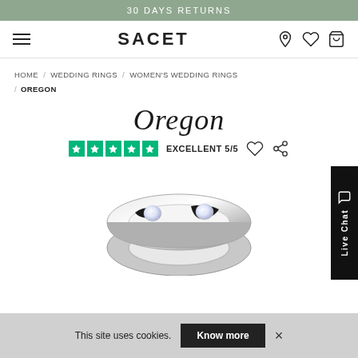30 DAYS RETURNS
SACET
HOME / WEDDING RINGS / WOMEN'S WEDDING RINGS / OREGON
Oregon
EXCELLENT 5/5
[Figure (photo): A silver wedding ring with embedded diamonds/gemstones on a white background, partially visible from below]
This site uses cookies. Know more ×